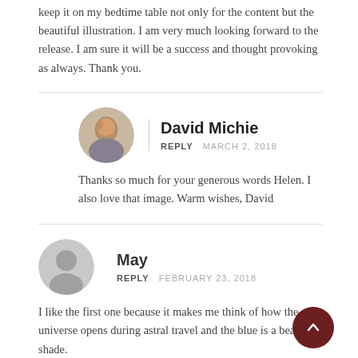keep it on my bedtime table not only for the content but the beautiful illustration. I am very much looking forward to the release. I am sure it will be a success and thought provoking as always. Thank you.
David Michie
REPLY  MARCH 2, 2018
Thanks so much for your generous words Helen. I also love that image. Warm wishes, David
May
REPLY  FEBRUARY 23, 2018
I like the first one because it makes me think of how the universe opens during astral travel and the blue is a beautiful shade.